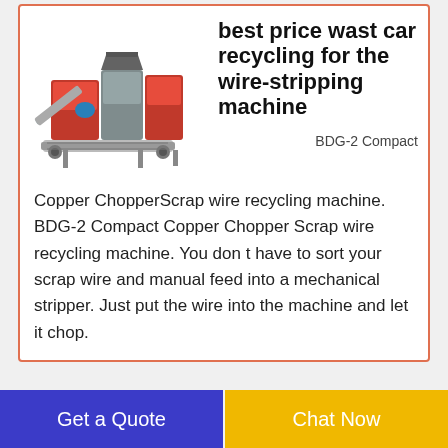[Figure (illustration): 3D rendering of BDG-2 Compact Copper Chopper Scrap wire recycling machine with conveyor belt and processing units]
best price wast car recycling for the wire-stripping machine
BDG-2 Compact
Copper ChopperScrap wire recycling machine. BDG-2 Compact Copper Chopper Scrap wire recycling machine. You don t have to sort your scrap wire and manual feed into a mechanical stripper. Just put the wire into the machine and let it chop.
[Figure (photo): Photo of industrial waste and recycling facility interior]
Waste and recycling
Get a Quote
Chat Now